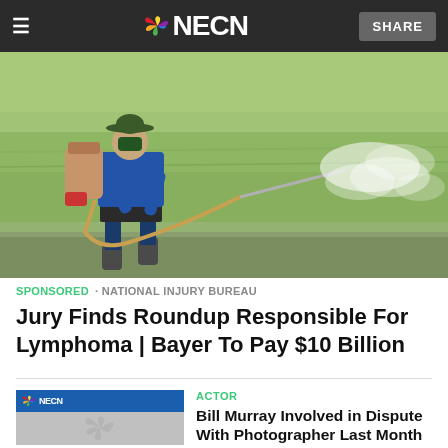NECN
[Figure (photo): A farmer wearing a blue long-sleeve shirt, hat, and rubber boots, carrying a large pesticide tank on their back while spraying chemicals over a green rice paddy field.]
SPONSORED · NATIONAL INJURY BUREAU
Jury Finds Roundup Responsible For Lymphoma | Bayer To Pay $10 Billion
[Figure (logo): NECN logo thumbnail with NBC peacock icon on blue bar and gray background with white peacock watermark]
ACTOR
Bill Murray Involved in Dispute With Photographer Last Month